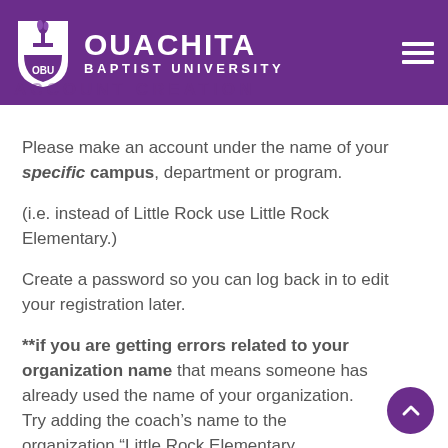OUACHITA BAPTIST UNIVERSITY
ACCOUNT CREATION
Please make an account under the name of your specific campus, department or program.
(i.e. instead of Little Rock use Little Rock Elementary.)
Create a password so you can log back in to edit your registration later.
**if you are getting errors related to your organization name that means someone has already used the name of your organization. Try adding the coach’s name to the organization “Little Rock Elementary Chelette” to distinguish yourself.